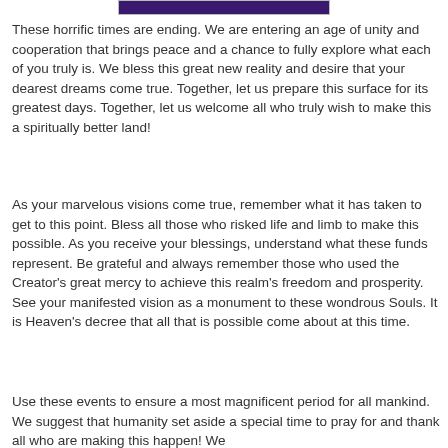[Figure (other): Purple/dark violet banner bar at top of page]
These horrific times are ending. We are entering an age of unity and cooperation that brings peace and a chance to fully explore what each of you truly is. We bless this great new reality and desire that your dearest dreams come true. Together, let us prepare this surface for its greatest days. Together, let us welcome all who truly wish to make this a spiritually better land!
As your marvelous visions come true, remember what it has taken to get to this point. Bless all those who risked life and limb to make this possible. As you receive your blessings, understand what these funds represent. Be grateful and always remember those who used the Creator’s great mercy to achieve this realm's freedom and prosperity. See your manifested vision as a monument to these wondrous Souls. It is Heaven’s decree that all that is possible come about at this time.
Use these events to ensure a most magnificent period for all mankind. We suggest that humanity set aside a special time to pray for and thank all who are making this happen! We